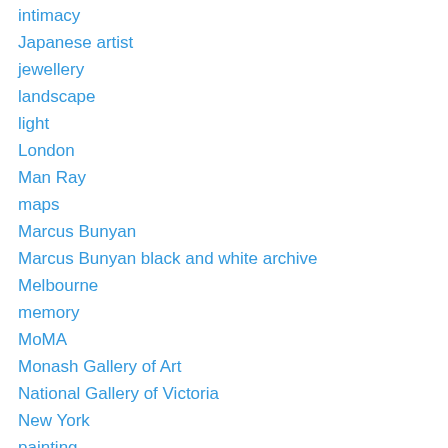intimacy
Japanese artist
jewellery
landscape
light
London
Man Ray
maps
Marcus Bunyan
Marcus Bunyan black and white archive
Melbourne
memory
MoMA
Monash Gallery of Art
National Gallery of Victoria
New York
painting
Paris
Paul Outerbridge
photographic commentator